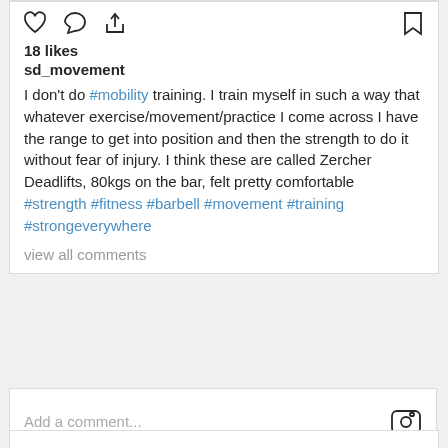[Figure (infographic): Instagram post interaction icons: heart (like), comment bubble, share arrow on left; bookmark on right]
18 likes
sd_movement
I don't do #mobility training. I train myself in such a way that whatever exercise/movement/practice I come across I have the range to get into position and then the strength to do it without fear of injury. I think these are called Zercher Deadlifts, 80kgs on the bar, felt pretty comfortable
#strength #fitness #barbell #movement #training #strongeverywhere
view all comments
Add a comment...